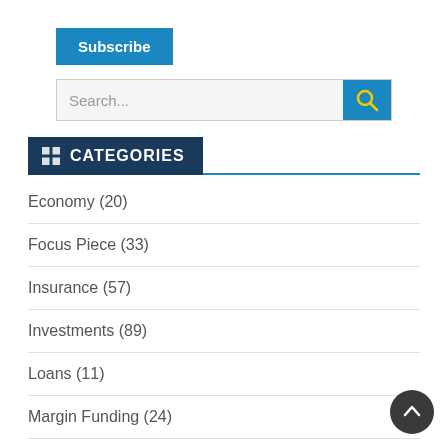Subscribe
Search...
CATEGORIES
Economy (20)
Focus Piece (33)
Insurance (57)
Investments (89)
Loans (11)
Margin Funding (24)
Market (39)
NRI (1)